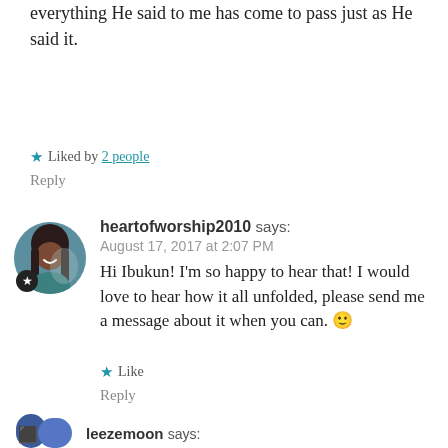everything He said to me has come to pass just as He said it.
Liked by 2 people
Reply
heartofworship2010 says:
August 17, 2017 at 2:07 PM
Hi Ibukun! I'm so happy to hear that! I would love to hear how it all unfolded, please send me a message about it when you can. 🙂
Like
Reply
leezemoon says: